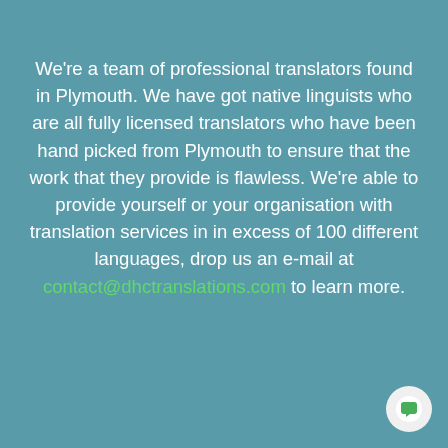We're a team of professional translators found in Plymouth. We have got native linguists who are all fully licensed translators who have been hand picked from Plymouth to ensure that the work that they provide is flawless. We're able to provide yourself or your organisation with translation services in in excess of 100 different languages, drop us an e-mail at contact@dhctranslations.com to learn more.
READ MORE